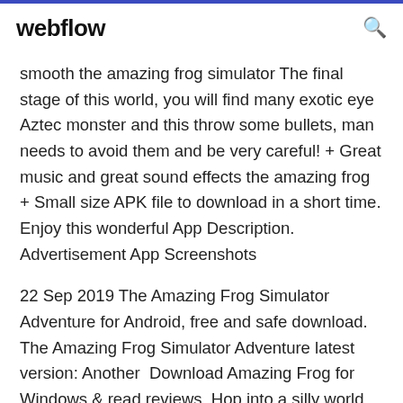webflow
smooth the amazing frog simulator The final stage of this world, you will find many exotic eye Aztec monster and this throw some bullets, man needs to avoid them and be very careful! + Great music and great sound effects the amazing frog + Small size APK file to download in a short time. Enjoy this wonderful App Description. Advertisement App Screenshots
22 Sep 2019 The Amazing Frog Simulator Adventure for Android, free and safe download. The Amazing Frog Simulator Adventure latest version: Another Download Amazing Frog for Windows & read reviews. Hop into a silly world. Download The Amazing Frog APK 1.86 (Latest